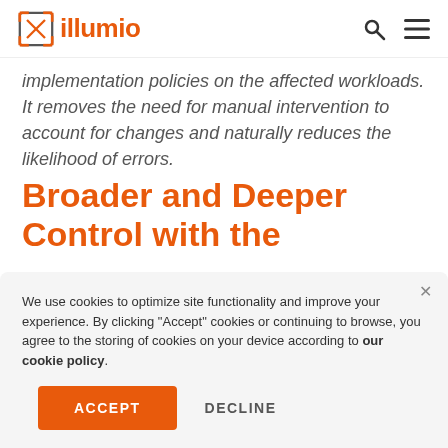illumio
implementation policies on the affected workloads. It removes the need for manual intervention to account for changes and naturally reduces the likelihood of errors.
Broader and Deeper Control with the
We use cookies to optimize site functionality and improve your experience. By clicking "Accept" cookies or continuing to browse, you agree to the storing of cookies on your device according to our cookie policy.
ACCEPT   DECLINE